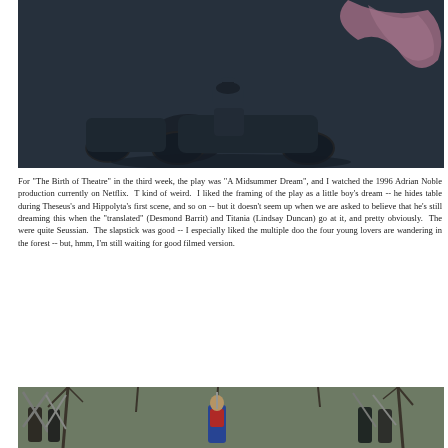[Figure (photo): A dark, moody film still showing a person riding a motorcycle with a sidecar. There appears to be a pink/mauve fabric or object in the frame. The scene has a dark, cinematic quality.]
For "The Birth of Theatre" in the third week, the play was "A Midsummer Dream", and I watched the 1996 Adrian Noble production currently on Netflix. T kind of weird. I liked the framing of the play as a little boy's dream -- he hides table during Theseus's and Hippolyta's first scene, and so on -- but it doesn't seem up when we are asked to believe that he's still dreaming this when the "translated" (Desmond Barrit) and Titania (Lindsay Duncan) go at it, and pretty obviously. The were quite Seussian. The slapstick was good -- I especially liked the multiple doo the four young lovers are wandering in the forest -- but, hmm, I'm still waiting for good filmed version.
[Figure (photo): A film still showing multiple people holding up swords or weapons in an outdoor woodland setting with bare trees. One person in the center wears a colorful medieval-style costume with a blue and red tunic.]